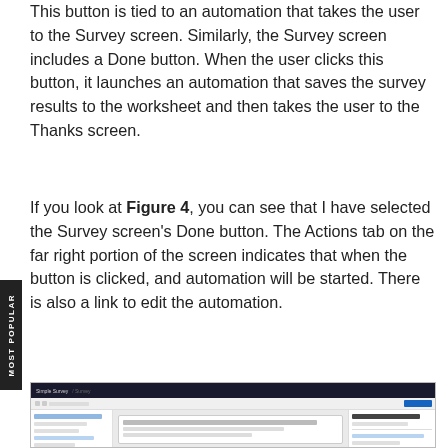This button is tied to an automation that takes the user to the Survey screen. Similarly, the Survey screen includes a Done button. When the user clicks this button, it launches an automation that saves the survey results to the worksheet and then takes the user to the Thanks screen.
If you look at Figure 4, you can see that I have selected the Survey screen's Done button. The Actions tab on the far right portion of the screen indicates that when the button is clicked, and automation will be started. There is also a link to edit the automation.
[Figure (screenshot): Screenshot of a survey screen builder application showing a survey form in the center panel, a left navigation panel with screen items, and a right Actions panel indicating an automation is configured for the Done button.]